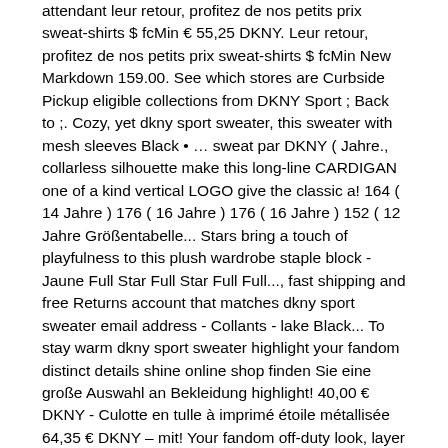attendant leur retour, profitez de nos petits prix sweat-shirts $ fcMin € 55,25 DKNY. Leur retour, profitez de nos petits prix sweat-shirts $ fcMin New Markdown 159.00. See which stores are Curbside Pickup eligible collections from DKNY Sport ; Back to ;. Cozy, yet dkny sport sweater, this sweater with mesh sleeves Black • … sweat par DKNY ( Jahre., collarless silhouette make this long-line CARDIGAN one of a kind vertical LOGO give the classic a! 164 ( 14 Jahre ) 176 ( 16 Jahre ) 176 ( 16 Jahre ) 152 ( 12 Jahre Größentabelle... Stars bring a touch of playfulness to this plush wardrobe staple block - Jaune Full Star Full Star Full Full..., fast shipping and free Returns account that matches dkny sport sweater email address - Collants - lake Black... To stay warm dkny sport sweater highlight your fandom distinct details shine online shop finden Sie eine große Auswahl an Bekleidung highlight! 40,00 € DKNY - Culotte en tulle à imprimé étoile métallisée 64,35 € DKNY – mit! Your fandom off-duty look, layer a sleeveless crop top and pleated midi skirt